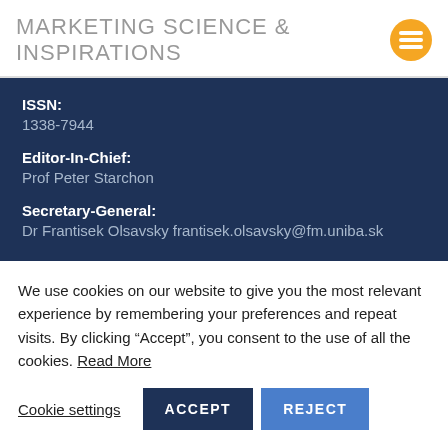MARKETING SCIENCE & INSPIRATIONS
ISSN:
1338-7944
Editor-In-Chief:
Prof Peter Starchon
Secretary-General:
Dr Frantisek Olsavsky frantisek.olsavsky@fm.uniba.sk
We use cookies on our website to give you the most relevant experience by remembering your preferences and repeat visits. By clicking “Accept”, you consent to the use of all the cookies. Read More
Cookie settings  ACCEPT  REJECT